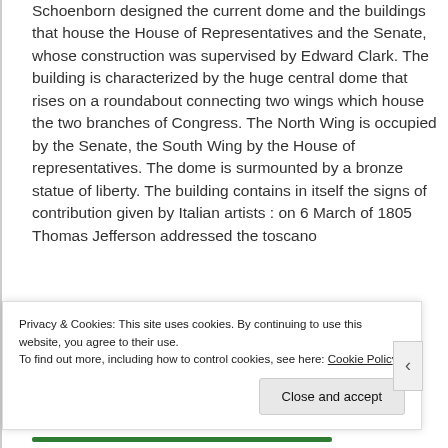Schoenborn designed the current dome and the buildings that house the House of Representatives and the Senate, whose construction was supervised by Edward Clark. The building is characterized by the huge central dome that rises on a roundabout connecting two wings which house the two branches of Congress. The North Wing is occupied by the Senate, the South Wing by the House of representatives. The dome is surmounted by a bronze statue of liberty. The building contains in itself the signs of contribution given by Italian artists : on 6 March of 1805 Thomas Jefferson addressed the toscano
Privacy & Cookies: This site uses cookies. By continuing to use this website, you agree to their use.
To find out more, including how to control cookies, see here: Cookie Policy